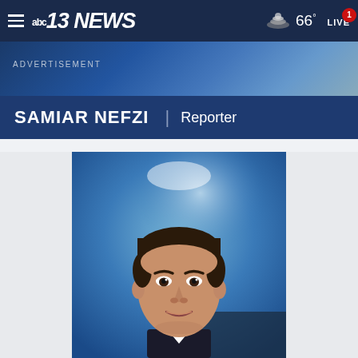abc13 NEWS | 66° | LIVE 1
ADVERTISEMENT
SAMIAR NEFZI | Reporter
[Figure (photo): Headshot of Samiar Nefzi, a young man with dark short hair, wearing a dark suit, photographed against a blue studio background]